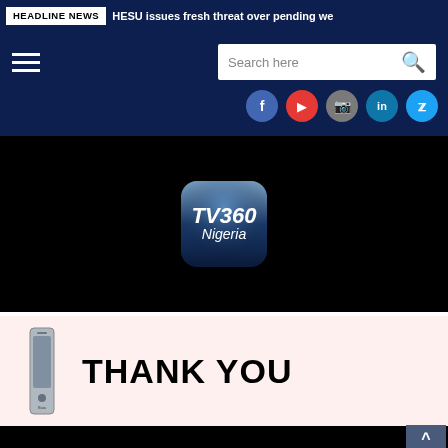HEADLINE NEWS | HESU issues fresh threat over pending we
[Figure (screenshot): Navigation bar with hamburger menu, search box, and social media icons (Facebook, YouTube, Instagram, LinkedIn, Twitter) on dark navy background]
[Figure (logo): TV360 Nigeria logo on dark blue rounded square background, displayed in a black video player area]
[Figure (infographic): Advertisement banner with a device image on the left and bold text THANK YOU on pink/cream background]
^